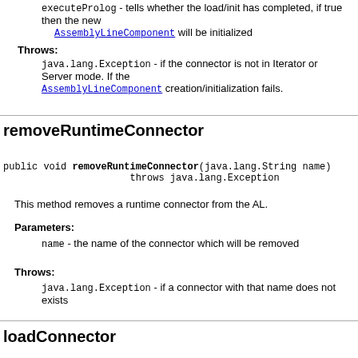executeProlog - tells whether the load/init has completed, if true then the new AssemblyLineComponent will be initialized
Throws: java.lang.Exception - if the connector is not in Iterator or Server mode. If the AssemblyLineComponent creation/initialization fails.
removeRuntimeConnector
public void removeRuntimeConnector(java.lang.String name)
                          throws java.lang.Exception
This method removes a runtime connector from the AL.
Parameters:
name - the name of the connector which will be removed
Throws:
java.lang.Exception - if a connector with that name does not exists
loadConnector